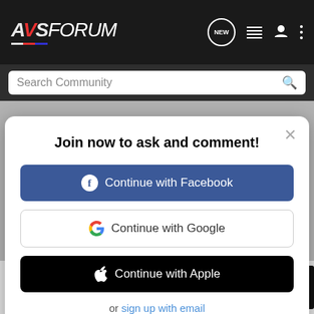[Figure (screenshot): AVSForum website header with logo and navigation icons]
[Figure (screenshot): Search Community input bar]
to have subtitles on every picture we watch, I would like to give y
[Figure (screenshot): Modal dialog: Join now to ask and comment! with Continue with Facebook, Continue with Google, Continue with Apple buttons and sign up with email link]
L
[Figure (screenshot): NAD ad banner: IT'S SIMPLY A MATTER OF TIME. Introducing the new NAD Masters M33 Amplifier. DISCOVER]